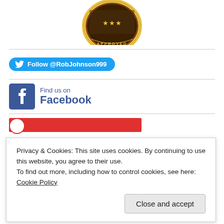[Figure (logo): Gold circular approval badge/seal with dark background and 'APPROVED' text around the rim]
[Figure (other): Twitter Follow button: Follow @RobJohnson999]
[Figure (other): Facebook Find us on Facebook badge with blue Facebook icon]
[Figure (other): Partial red bar with white circle at left, bottom of page]
Privacy & Cookies: This site uses cookies. By continuing to use this website, you agree to their use.
To find out more, including how to control cookies, see here: Cookie Policy
Close and accept